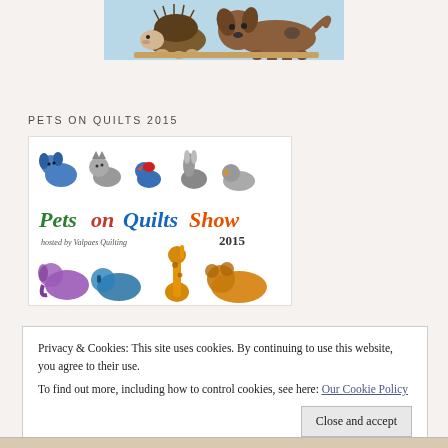[Figure (illustration): Cartoon illustration of a hedgehog and a brown dog on a light blue background, partially cropped at top]
PETS ON QUILTS 2015
[Figure (illustration): Pets on Quilts Show 2015 promotional image with colorful quilt-patterned animal silhouettes (dog, cat, bird, rabbit, duck, elephant, rhino, giraffe, bear) and text 'Pets on Quilts Show hosted by Valpaes Quilting 2015']
Privacy & Cookies: This site uses cookies. By continuing to use this website, you agree to their use.
To find out more, including how to control cookies, see here: Our Cookie Policy
Close and accept